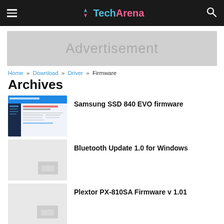TechArena
[Figure (screenshot): Advertisement banner placeholder]
Home » Download » Driver » Firmware
Archives
[Figure (screenshot): Samsung SSD 840 EVO firmware article thumbnail]
Samsung SSD 840 EVO firmware
[Figure (other): Bluetooth Update article thumbnail placeholder]
Bluetooth Update 1.0 for Windows
[Figure (other): Plextor PX-810SA Firmware article thumbnail placeholder]
Plextor PX-810SA Firmware v 1.01